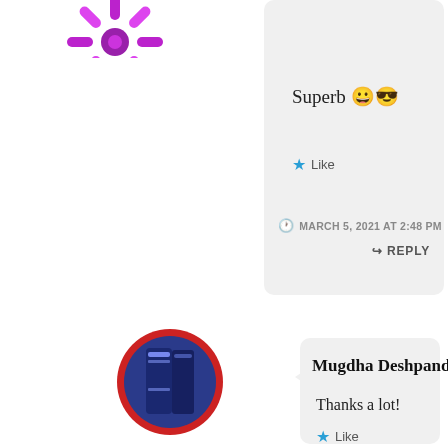[Figure (illustration): Purple decorative avatar icon (top left, partially visible)]
Superb 😀😎
Like
MARCH 5, 2021 AT 2:48 PM
REPLY
[Figure (photo): Circular avatar with red border showing a book cover photo]
Mugdha Deshpande
Thanks a lot!
Like